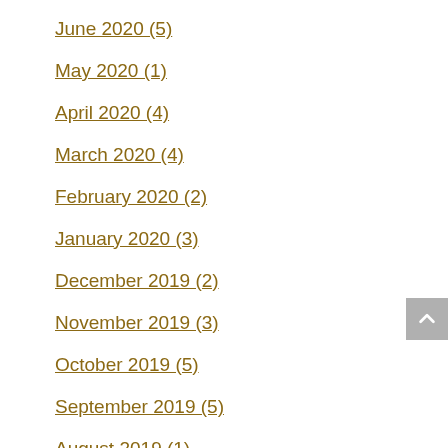June 2020 (5)
May 2020 (1)
April 2020 (4)
March 2020 (4)
February 2020 (2)
January 2020 (3)
December 2019 (2)
November 2019 (3)
October 2019 (5)
September 2019 (5)
August 2019 (1)
July 2019 (2)